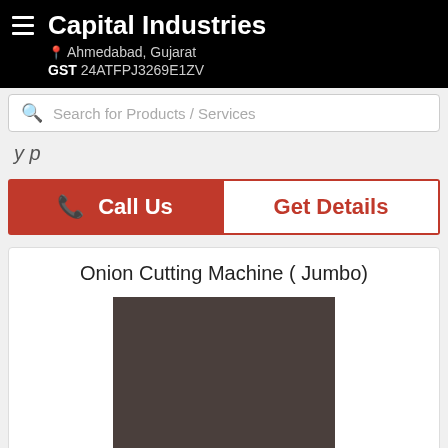Capital Industries
Ahmedabad, Gujarat
GST 24ATFPJ3269E1ZV
Search for Products / Services
y p
Call Us | Get Details
Onion Cutting Machine ( Jumbo)
[Figure (photo): Dark brownish-grey product image placeholder for Onion Cutting Machine (Jumbo)]